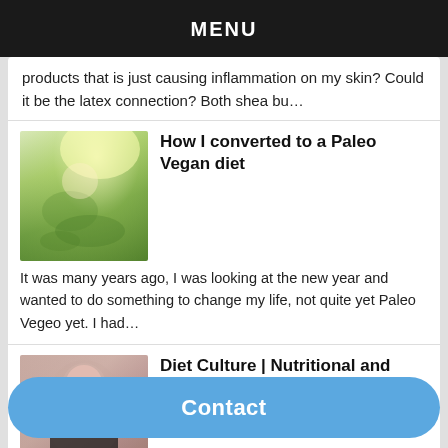MENU
products that is just causing inflammation on my skin? Could it be the latex connection? Both shea bu…
[Figure (photo): Young woman with long hair and a hat sitting in a sunny field of blue and green plants, backlit by sunlight]
How I converted to a Paleo Vegan diet
It was many years ago, I was looking at the new year and wanted to do something to change my life, not quite yet Paleo Vegeo yet. I had…
[Figure (photo): Woman with long red-brown hair and black top smiling at camera indoors]
Diet Culture | Nutritional and Fitness Gaslighting
Rant/ Trigger Warning… // gaslighting…
Contact